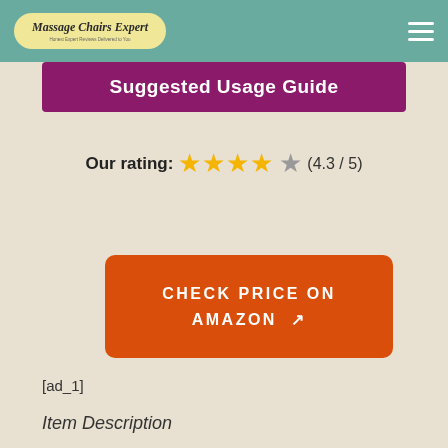Massage Chairs Expert
Suggested Usage Guide
Our rating: ★★★★☆ (4.3 / 5)
CHECK PRICE ON AMAZON ↗
[ad_1]
Item Description